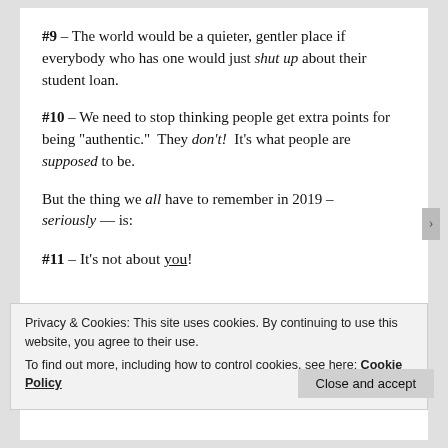#9 – The world would be a quieter, gentler place if everybody who has one would just shut up about their student loan.
#10 – We need to stop thinking people get extra points for being "authentic." They don't!  It's what people are supposed to be.
But the thing we all have to remember in 2019 – seriously — is:
#11 – It's not about you!
Privacy & Cookies: This site uses cookies. By continuing to use this website, you agree to their use.
To find out more, including how to control cookies, see here: Cookie Policy
Close and accept